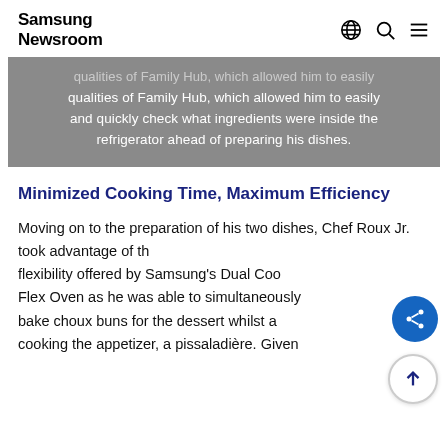Samsung Newsroom
qualities of Family Hub, which allowed him to easily and quickly check what ingredients were inside the refrigerator ahead of preparing his dishes.
Minimized Cooking Time, Maximum Efficiency
Moving on to the preparation of his two dishes, Chef Roux Jr. took advantage of the flexibility offered by Samsung's Dual Cook Flex Oven as he was able to simultaneously bake choux buns for the dessert whilst also cooking the appetizer, a pissaladière. Given